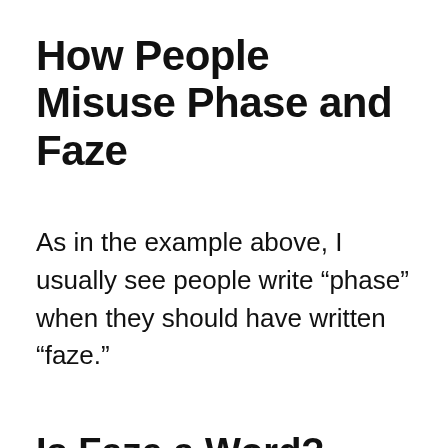How People Misuse Phase and Faze
As in the example above, I usually see people write “phase” when they should have written “faze.”
Is Faze a Word?
It sure is! Here’s how the Google dictionary defines it...